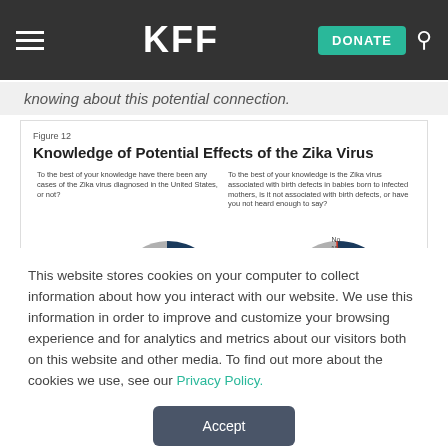KFF | DONATE
knowing about this potential connection.
Figure 12
Knowledge of Potential Effects of the Zika Virus
[Figure (pie-chart): To the best of your knowledge have there been any cases of the Zika virus diagnosed in the United States, or not?]
[Figure (pie-chart): To the best of your knowledge is the Zika virus associated with birth defects in babies born to infected mothers, is it not associated with birth defects, or have you not heard enough to say?]
This website stores cookies on your computer to collect information about how you interact with our website. We use this information in order to improve and customize your browsing experience and for analytics and metrics about our visitors both on this website and other media. To find out more about the cookies we use, see our Privacy Policy.
Accept